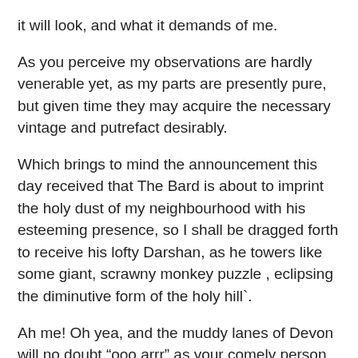it will look, and what it demands of me.
As you perceive my observations are hardly venerable yet, as my parts are presently pure, but given time they may acquire the necessary vintage and putrefact desirably.
Which brings to mind the announcement this day received that The Bard is about to imprint the holy dust of my neighbourhood with his esteeming presence, so I shall be dragged forth to receive his lofty Darshan, as he towers like some giant, scrawny monkey puzzle , eclipsing the diminutive form of the holy hill`.
Ah me! Oh yea, and the muddy lanes of Devon will no doubt “ooo arrr” as your comely person huffs with astonishing puffs between its unending hedges as combine harvesters bare their teeth and lurk round every